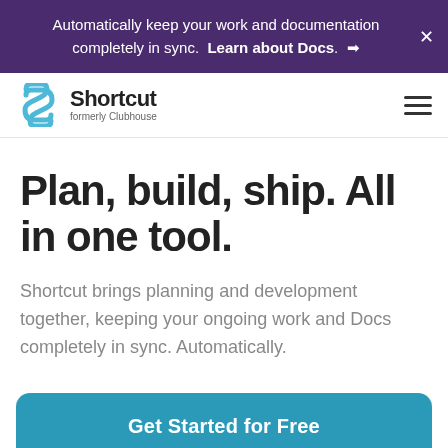Automatically keep your work and documentation completely in sync. Learn about Docs. →
[Figure (logo): Shortcut logo with blue stylized S icon, company name 'Shortcut' and subtitle 'formerly Clubhouse']
Plan, build, ship. All in one tool.
Shortcut brings planning and development together, keeping your ongoing work and Docs completely in sync. Automatically.
Get Started for Free